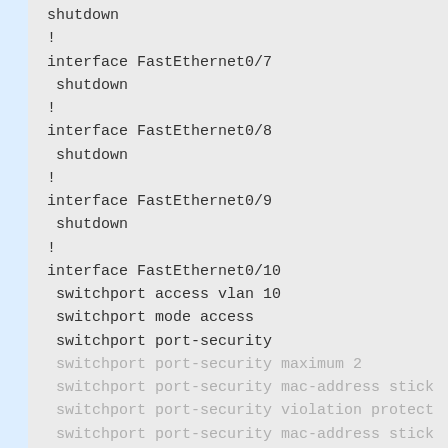shutdown
!
interface FastEthernet0/7
 shutdown
!
interface FastEthernet0/8
 shutdown
!
interface FastEthernet0/9
 shutdown
!
interface FastEthernet0/10
 switchport access vlan 10
 switchport mode access
 switchport port-security
 switchport port-security maximum 2
 switchport port-security mac-address sticky
 switchport port-security violation protect
 switchport port-security mac-address sticky